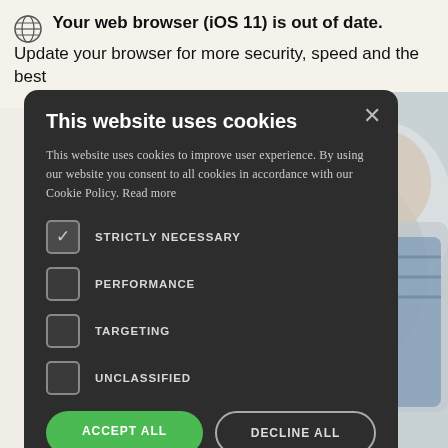Your web browser (iOS 11) is out of date. Update your browser for more security, speed and the best
[Figure (screenshot): Cookie consent modal dialog on a dark background with title 'This website uses cookies', body text, checkboxes for STRICTLY NECESSARY, PERFORMANCE, TARGETING, UNCLASSIFIED, and ACCEPT ALL / DECLINE ALL buttons plus a SHOW DETAILS link]
This website uses cookies
This website uses cookies to improve user experience. By using our website you consent to all cookies in accordance with our Cookie Policy. Read more
STRICTLY NECESSARY
PERFORMANCE
TARGETING
UNCLASSIFIED
ACCEPT ALL
DECLINE ALL
SHOW DETAILS